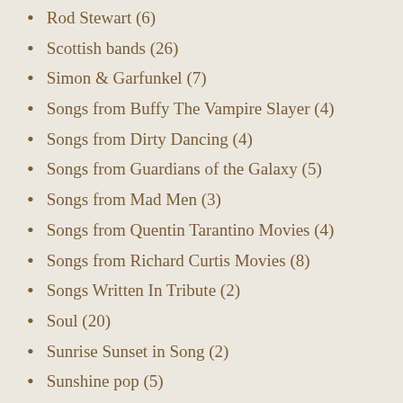Rod Stewart (6)
Scottish bands (26)
Simon & Garfunkel (7)
Songs from Buffy The Vampire Slayer (4)
Songs from Dirty Dancing (4)
Songs from Guardians of the Galaxy (5)
Songs from Mad Men (3)
Songs from Quentin Tarantino Movies (4)
Songs from Richard Curtis Movies (8)
Songs Written In Tribute (2)
Soul (20)
Sunrise Sunset in Song (2)
Sunshine pop (5)
Synthpop (7)
Take That (3)
Television shows (56)